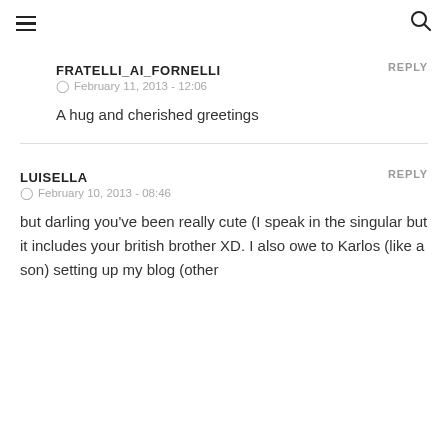≡  🔍
FRATELLI_AI_FORNELLI
REPLY
February 11, 2013 - 12:06
A hug and cherished greetings
LUISELLA
REPLY
February 10, 2013 - 08:46
but darling you've been really cute (I speak in the singular but it includes your british brother XD. I also owe to Karlos (like a son) setting up my blog (other